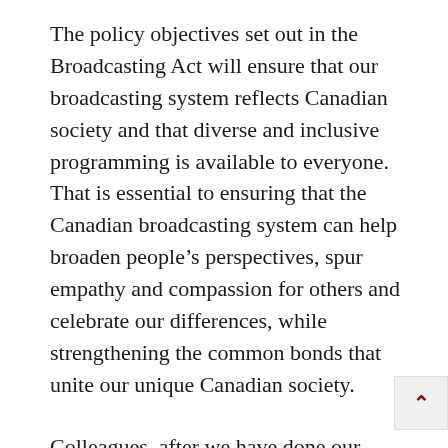The policy objectives set out in the Broadcasting Act will ensure that our broadcasting system reflects Canadian society and that diverse and inclusive programming is available to everyone. That is essential to ensuring that the Canadian broadcasting system can help broaden people's perspectives, spur empathy and compassion for others and celebrate our differences, while strengthening the common bonds that unite our unique Canadian society.
Colleagues, after we have done our duty and considered Bill C-10, the Minister of Canadian Heritage intends to ask the Governor-in-Council to issue a policy direction to the CRTC to gu use of the new regulatory tools provided by